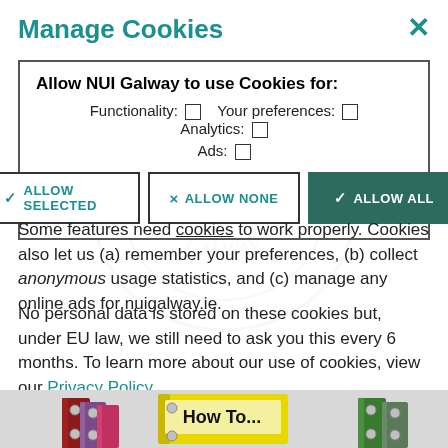Manage Cookies
Allow NUI Galway to use Cookies for:
Functionality: □  Your preferences: □  Analytics: □
Ads: □
ALLOW SELECTED  ALLOW NONE  ALLOW ALL
Some features need cookies to work properly. Cookies also let us (a) remember your preferences, (b) collect anonymous usage statistics, and (c) manage any online ads for nuigalway.ie.
No personal data is stored on these cookies but, under EU law, we still need to ask you this every 6 months. To learn more about our use of cookies, view our Privacy Policy.
[Figure (illustration): Colourful ring binders with a 'How To...' label binder in the centre]